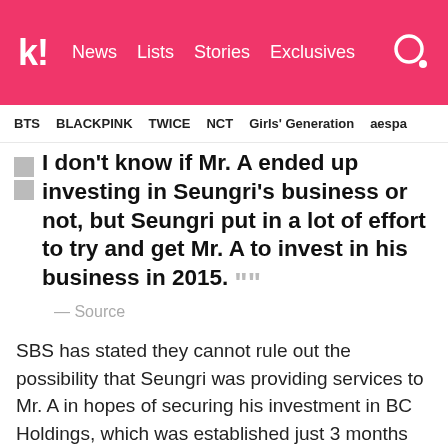k! News  Lists  Stories  Exclusives
BTS  BLACKPINK  TWICE  NCT  Girls' Generation  aespa
I don't know if Mr. A ended up investing in Seungri's business or not, but Seungri put in a lot of effort to try and get Mr. A to invest in his business in 2015.
— Source
SBS has stated they cannot rule out the possibility that Seungri was providing services to Mr. A in hopes of securing his investment in BC Holdings, which was established just 3 months later, in March 2016.